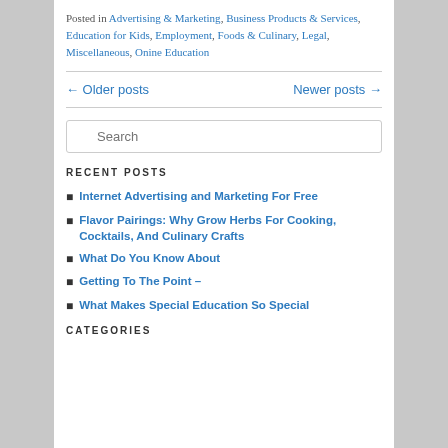Posted in Advertising & Marketing, Business Products & Services, Education for Kids, Employment, Foods & Culinary, Legal, Miscellaneous, Onine Education
← Older posts    Newer posts →
Search
RECENT POSTS
Internet Advertising and Marketing For Free
Flavor Pairings: Why Grow Herbs For Cooking, Cocktails, And Culinary Crafts
What Do You Know About
Getting To The Point –
What Makes Special Education So Special
CATEGORIES